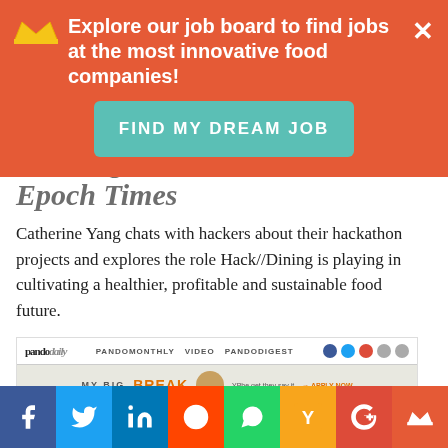[Figure (screenshot): Orange promotional banner with crown icon, text 'Explore our job board to find jobs at the most innovative food companies!', a teal 'FIND MY DREAM JOB' button, and an X close button]
Dining Epoch Times
Catherine Yang chats with hackers about their hackathon projects and explores the role Hack//Dining is playing in cultivating a healthier, profitable and sustainable food future.
[Figure (screenshot): Screenshot of Pando Daily article page showing 'Hacking Chipotle: Developers team up to build a better burrito through technology']
[Figure (infographic): Bottom social sharing bar with Facebook, Twitter, LinkedIn, Reddit, WhatsApp, Hacker News (Y), Google+, and crown/bookmark icons]